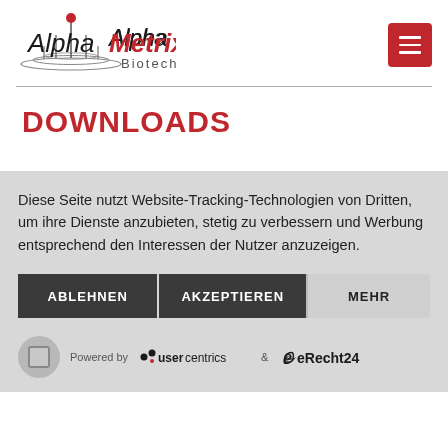[Figure (logo): AlphaMetrix Biotech logo with stylized circle and lines, red dot, company name in black and red]
DOWNLOADS
Diese Seite nutzt Website-Tracking-Technologien von Dritten, um ihre Dienste anzubieten, stetig zu verbessern und Werbung entsprechend den Interessen der Nutzer anzuzeigen.
ABLEHNEN  AKZEPTIEREN  MEHR
Powered by usercentrics & eRecht24